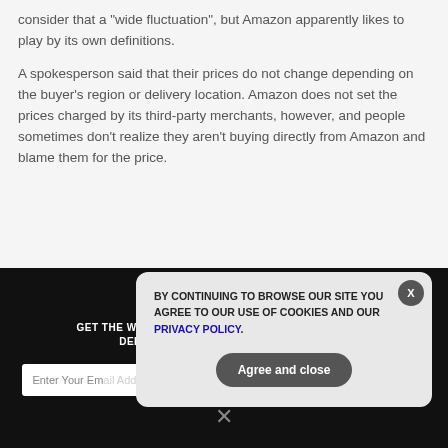consider that a 'wide fluctuation', but Amazon apparently likes to play by its own definitions.
A spokesperson said that their prices do not change depending on the buyer's region or delivery location. Amazon does not set the prices charged by its third-party merchants, however, and people sometimes don't realize they aren't buying directly from Amazon and blame them for the price.
GET THE WORLD'S BEST NATURAL HEALTH NEWSLETTER DELIVERED STRAIGHT TO YOUR INBOX
Enter Your Email Address
SUBSCRIBE
BY CONTINUING TO BROWSE OUR SITE YOU AGREE TO OUR USE OF COOKIES AND OUR PRIVACY POLICY.
Agree and close